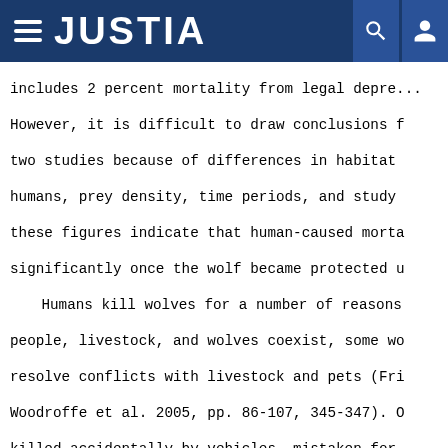JUSTIA
includes 2 percent mortality from legal depr... However, it is difficult to draw conclusions from two studies because of differences in habitat, humans, prey density, time periods, and study... these figures indicate that human-caused mortality significantly once the wolf became protected u...
    Humans kill wolves for a number of reasons... people, livestock, and wolves coexist, some wo... resolve conflicts with livestock and pets (Fri... Woodroffe et al. 2005, pp. 86-107, 345-347). O... killed accidentally by vehicles, mistaken for... in traps set for other animals, or subject to related mortality during conservation or resea... 2005, p. 346). A few wolves have been killed b... their physical safety was being threatened. Ma... however, are intentional, illegal, and never r...
    Although survival can be highly variable a...